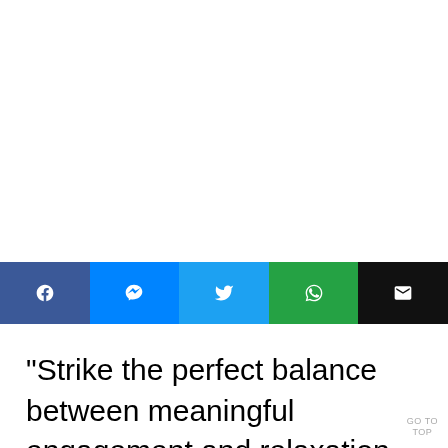[Figure (infographic): Social sharing bar with five buttons: Facebook (dark blue, f icon), Messenger (blue, lightning/circle icon), Twitter (light blue, bird icon), WhatsApp (teal/green, phone icon), Email (black, envelope icon)]
“Strike the perfect balance between meaningful engagement and relaxation this summer,” said Jennifer Walsh-Ru